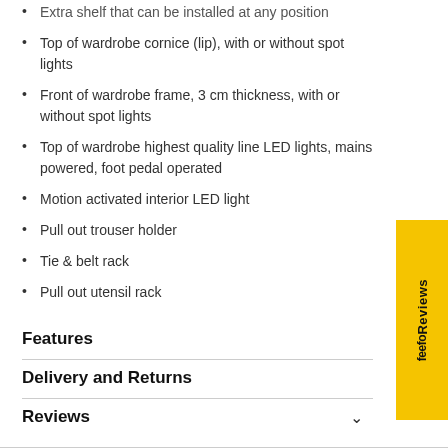Extra shelf that can be installed at any position
Top of wardrobe cornice (lip), with or without spot lights
Front of wardrobe frame, 3 cm thickness, with or without spot lights
Top of wardrobe highest quality line LED lights, mains powered, foot pedal operated
Motion activated interior LED light
Pull out trouser holder
Tie & belt rack
Pull out utensil rack
Features
Delivery and Returns
Reviews